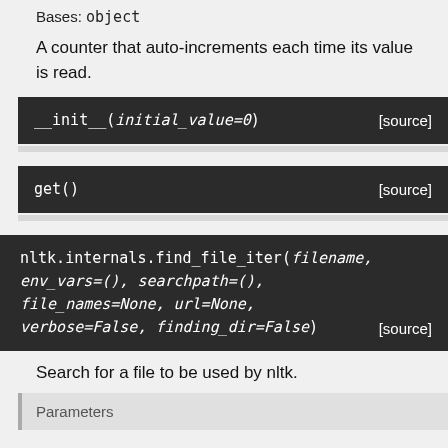Bases: object
A counter that auto-increments each time its value is read.
__init__(initial_value=0) [source]
get() [source]
nltk.internals.find_file_iter(filename, env_vars=(), searchpath=(), file_names=None, url=None, verbose=False, finding_dir=False) [source]
Search for a file to be used by nltk.
Parameters